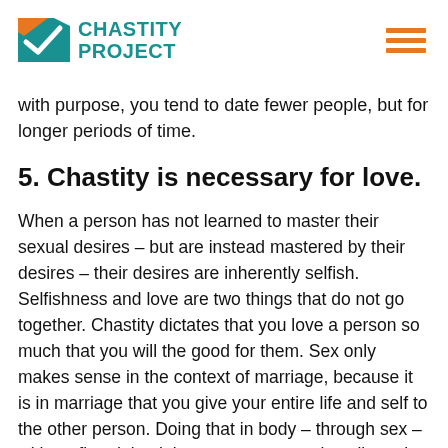Chastity Project
with purpose, you tend to date fewer people, but for longer periods of time.
5. Chastity is necessary for love.
When a person has not learned to master their sexual desires – but are instead mastered by their desires – their desires are inherently selfish. Selfishness and love are two things that do not go together. Chastity dictates that you love a person so much that you will the good for them. Sex only makes sense in the context of marriage, because it is in marriage that you give your entire life and self to the other person. Doing that in body – through sex – without first doing it in sacrament, speaks a lie to the other person. I can honestly say that there is no way that my wife and I would have ever married if we didn't constantly